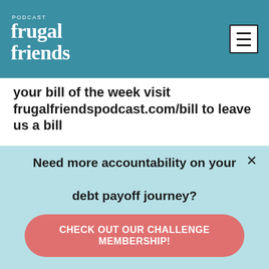frugal friends PODCAST
your bill of the week visit frugalfriendspodcast.com/bill to leave us a bill
Thanks so much Jenna for sharing your frugal tips! We love to learn new ways to save on gym costs – and what a great date idea to do a yoga class with your significant
Need more accountability on your debt payoff journey?
CHECK OUT OUR CHALLENGE MEMBERSHIP!